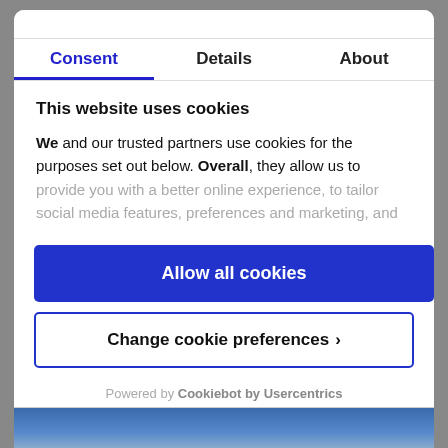Consent | Details | About
This website uses cookies
We and our trusted partners use cookies for the purposes set out below. Overall, they allow us to provide you with a better online experience, to tailor social media features, preferences and marketing, and
Allow all cookies
Change cookie preferences
Powered by Cookiebot by Usercentrics